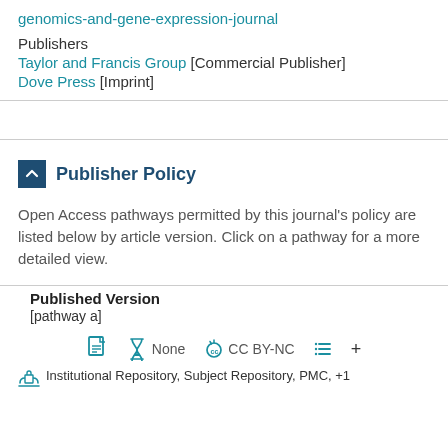genomics-and-gene-expression-journal
Publishers
Taylor and Francis Group [Commercial Publisher]
Dove Press [Imprint]
Publisher Policy
Open Access pathways permitted by this journal's policy are listed below by article version. Click on a pathway for a more detailed view.
Published Version
[pathway a]
None  CC BY-NC
Institutional Repository, Subject Repository, PMC, +1